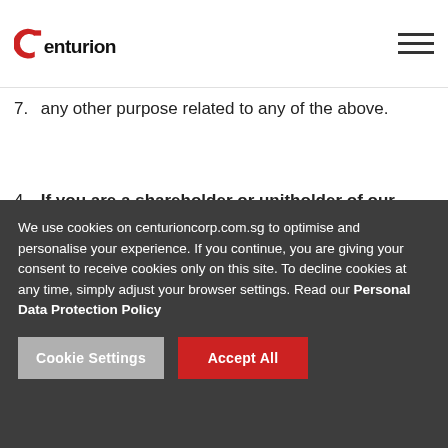Centurion [logo]
7. any other purpose related to any of the above.
4. If you are a shareholder or unitholder of our shares:
1. to administer the relationship, including the verification of your
We use cookies on centurioncorp.com.sg to optimise and personalise your experience. If you continue, you are giving your consent to receive cookies only on this site. To decline cookies at any time, simply adjust your browser settings. Read our Personal Data Protection Policy
Cookie Settings | Accept All